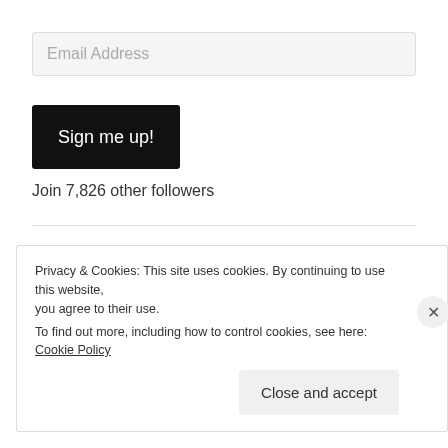Email Address
Sign me up!
Join 7,826 other followers
BLOG STATS
268,825 hits
Privacy & Cookies: This site uses cookies. By continuing to use this website, you agree to their use.
To find out more, including how to control cookies, see here: Cookie Policy
Close and accept